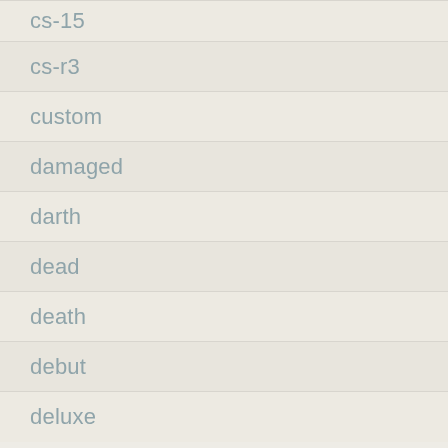cs-15
cs-r3
custom
damaged
darth
dead
death
debut
deluxe